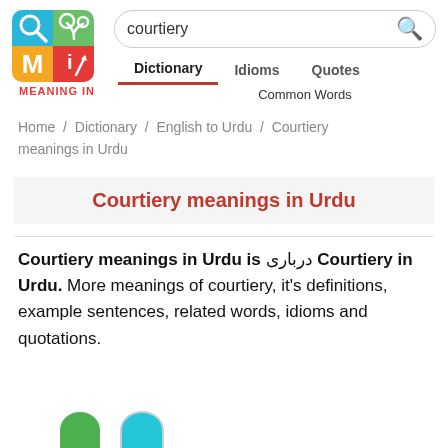[Figure (logo): Meaning In dictionary app logo — 2x2 grid with magnifying glass (cyan), plant sprout (green), letter M (orange), letter i with pen (red), and MEANING IN text below in red]
courtiery
Dictionary   Idioms   Quotes
Common Words
Home /  Dictionary /  English to Urdu /  Courtiery meanings in Urdu
Courtiery meanings in Urdu
Courtiery meanings in Urdu is درباری Courtiery in Urdu. More meanings of courtiery, it's definitions, example sentences, related words, idioms and quotations.